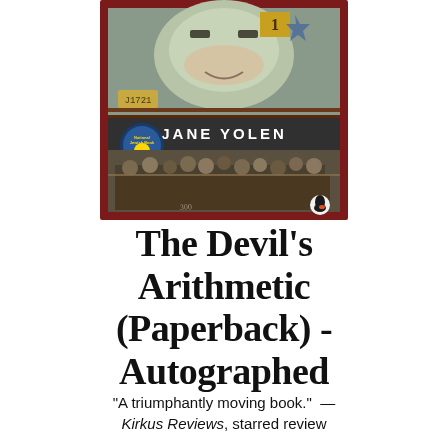[Figure (illustration): Book cover of 'The Devil's Arithmetic' by Jane Yolen, published by Puffin/Penguin. Shows a young person's face in the upper portion, a group of people (concentration camp prisoners) in the lower portion, with a dark red wooden frame motif, a National Jewish Book Award medallion, and the author name 'JANE YOLEN' in the middle.]
The Devil's Arithmetic (Paperback) - Autographed
"A triumphantly moving book." — Kirkus Reviews, starred review